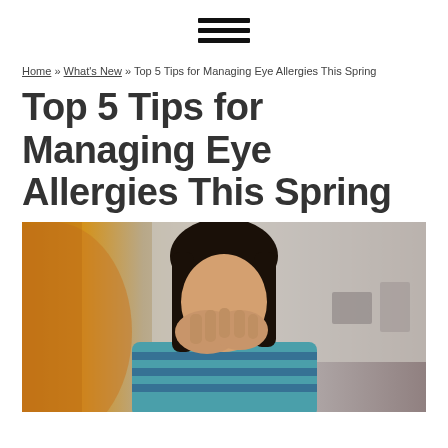[hamburger menu icon]
Home » What's New » Top 5 Tips for Managing Eye Allergies This Spring
Top 5 Tips for Managing Eye Allergies This Spring
[Figure (photo): Young woman with dark hair rubbing her eyes with both hands, wearing a teal and blue striped top, photographed indoors with warm orange light on the left side and a light gray background]